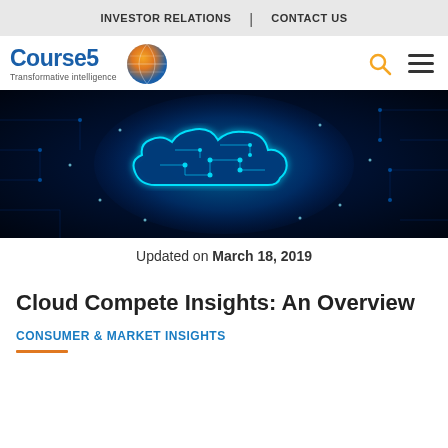INVESTOR RELATIONS | CONTACT US
[Figure (logo): Course5 Transformative Intelligence logo with blue/orange globe icon]
[Figure (photo): Hero banner image: glowing blue cloud computing circuit board illustration on dark background]
Updated on March 18, 2019
Cloud Compete Insights: An Overview
CONSUMER & MARKET INSIGHTS